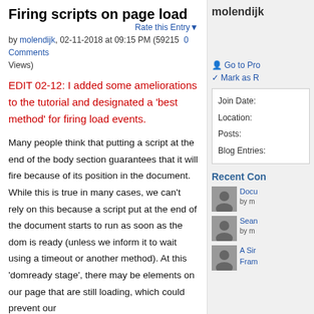Firing scripts on page load
Rate this Entry▾
by molendijk, 02-11-2018 at 09:15 PM (59215  0 Comments Views)
EDIT 02-12: I added some ameliorations to the tutorial and designated a 'best method' for firing load events.
Many people think that putting a script at the end of the body section guarantees that it will fire because of its position in the document. While this is true in many cases, we can't rely on this because a script put at the end of the document starts to run as soon as the dom is ready (unless we inform it to wait using a timeout or another method). At this 'domready stage', there may be elements on our page that are still loading, which could prevent our
molendijk
Go to Pro
Mark as R
| Join Date: |
| Location: |
| Posts: |
| Blog Entries: |
Recent Con
Docu by m
Sean by m
A Sir Fram